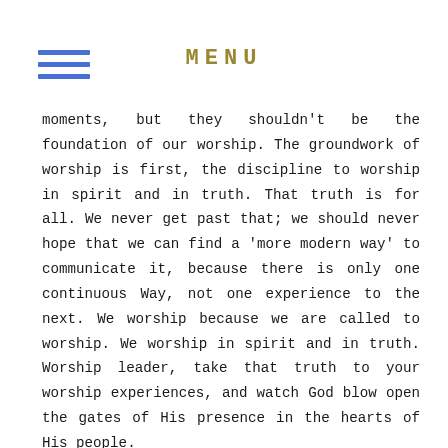MENU
moments, but they shouldn't be the foundation of our worship. The groundwork of worship is first, the discipline to worship in spirit and in truth. That truth is for all. We never get past that; we should never hope that we can find a 'more modern way' to communicate it, because there is only one continuous Way, not one experience to the next. We worship because we are called to worship. We worship in spirit and in truth. Worship leader, take that truth to your worship experiences, and watch God blow open the gates of His presence in the hearts of His people.